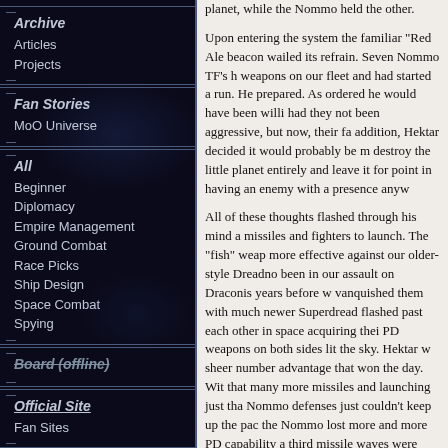Archive
Articles
Projects
Fan Stories
MoO Universe
All
Beginner
Diplomacy
Empire Management
Ground Combat
Race Picks
Ship Design
Space Combat
Spying
Board (offline)
Official Site
Fan Sites
planet, while the Nommo held the other.

Upon entering the system the familiar “Red Ale beacon wailed its refrain. Seven Nommo TF’s h weapons on our fleet and had started a run. He prepared. As ordered he would have been willi had they not been aggressive, but now, their fa addition, Hektar decided it would probably be m destroy the little planet entirely and leave it for point in having an enemy with a presence anyw

All of these thoughts flashed through his mind a missiles and fighters to launch. The “fish” weap more effective against our older-style Dreadno been in our assault on Draconis years before w vanquished them with much newer Superdread flashed past each other in space acquiring thei PD weapons on both sides lit the sky. Hektar w sheer number advantage that won the day. Wit that many more missiles and launching just tha Nommo defenses just couldn’t keep up the pac the Nommo lost more and more PD capability a third missile waves were greatly reduced in nu had cleared Hektar counted only one destroye while not obliterated, greatly reduced in numbe glassed on Hektar’s command. When contacte communicator Labon gave his blessing to the p wait one cycle for the remaining, more advance his lead group. He was down to only eight full T system, which sensors indicated held only one more Nommo, was heavily fortified. He couldn’ his battle group before even reaching Meklar s decided that he would take this planet from the